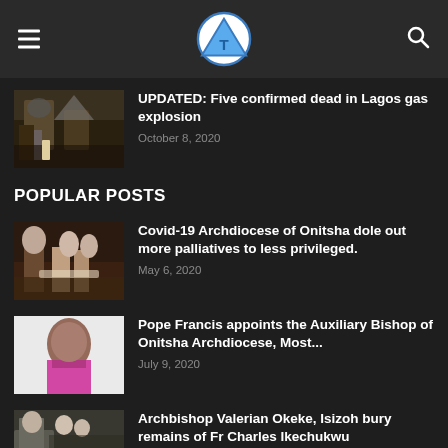Navigation header with logo
[Figure (photo): Firefighters at a gas explosion scene with smoke and debris]
UPDATED: Five confirmed dead in Lagos gas explosion
October 8, 2020
POPULAR POSTS
[Figure (photo): Church officials distributing palliatives to people]
Covid-19 Archdiocese of Onitsha dole out more palliatives to less privileged.
May 6, 2020
[Figure (photo): Bishop in pink vestments portrait photo]
Pope Francis appoints the Auxiliary Bishop of Onitsha Archdiocese, Most...
July 9, 2020
[Figure (photo): Group of clergy outside a church building]
Archbishop Valerian Okeke, Isizoh bury remains of Fr Charles Ikechukwu